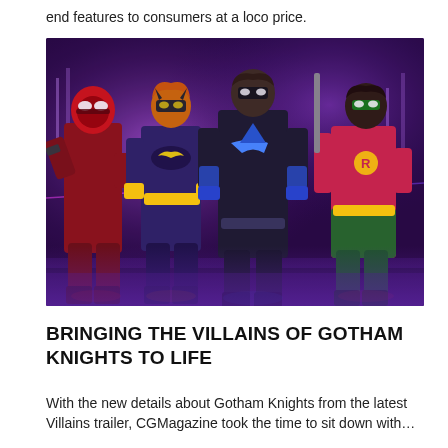end features to consumers at a loco price.
[Figure (photo): Four Gotham Knights characters (Red Hood, Batgirl, Nightwing, Robin) standing in a purple-lit Gotham City street scene]
BRINGING THE VILLAINS OF GOTHAM KNIGHTS TO LIFE
With the new details about Gotham Knights from the latest Villains trailer, CGMagazine took the time to sit down with…